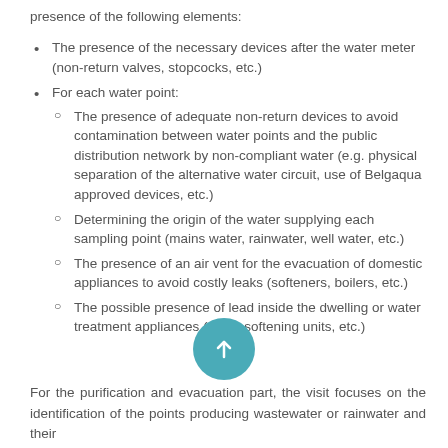presence of the following elements:
The presence of the necessary devices after the water meter (non-return valves, stopcocks, etc.)
For each water point:
The presence of adequate non-return devices to avoid contamination between water points and the public distribution network by non-compliant water (e.g. physical separation of the alternative water circuit, use of Belgaqua approved devices, etc.)
Determining the origin of the water supplying each sampling point (mains water, rainwater, well water, etc.)
The presence of an air vent for the evacuation of domestic appliances to avoid costly leaks (softeners, boilers, etc.)
The possible presence of lead inside the dwelling or water treatment appliances (water softening units, etc.)
For the purification and evacuation part, the visit focuses on the identification of the points producing wastewater or rainwater and their (truncated)